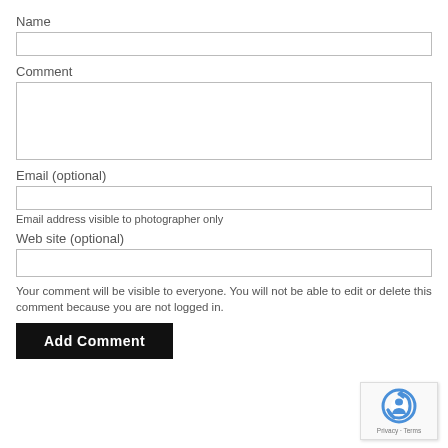Name
[Figure (other): Text input field for Name]
Comment
[Figure (other): Textarea input field for Comment]
Email (optional)
[Figure (other): Text input field for Email]
Email address visible to photographer only
Web site (optional)
[Figure (other): Text input field for Web site]
Your comment will be visible to everyone. You will not be able to edit or delete this comment because you are not logged in.
[Figure (other): Add Comment button]
[Figure (other): reCAPTCHA widget with Privacy and Terms links]